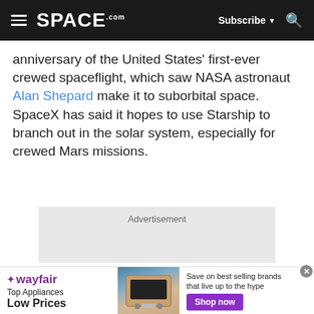SPACE.com — Subscribe — Search
anniversary of the United States' first-ever crewed spaceflight, which saw NASA astronaut Alan Shepard make it to suborbital space. SpaceX has said it hopes to use Starship to branch out in the solar system, especially for crewed Mars missions.
[Figure (other): Advertisement placeholder box with gray background]
[Figure (other): Wayfair advertisement banner: Top Appliances Low Prices. Save on best selling brands that live up to the hype. Shop now button.]